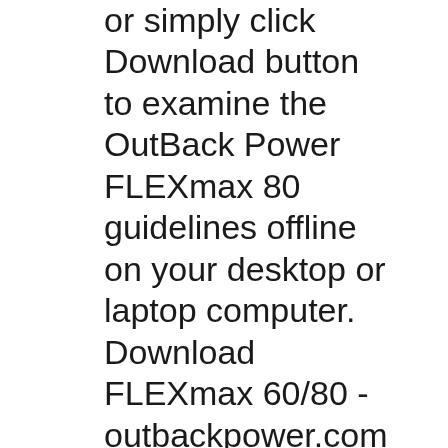or simply click Download button to examine the OutBack Power FLEXmax 80 guidelines offline on your desktop or laptop computer. Download FLEXmax 60/80 - outbackpower.com book pdf free download link or read online here in PDF. Read online FLEXmax 60/80 - outbackpower.com book pdf free download link book now. All books are in clear copy here, and all files are secure so don't worry about it. This site is like a library, you could find million book here by using search box
Régulateur de charge MPPT OUTBACK FlexMax 80 Régulateur de charge MPPT OUTBACK FlexMax Le régulateur FLEXmax est la dernière innovation en